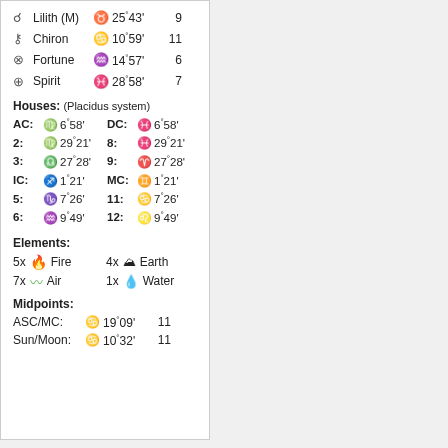| Symbol | Name | Sign | Degree | House |
| --- | --- | --- | --- | --- |
| Lilith (M) | Taurus | 25°43' | 9 |
| Chiron | Cancer | 10°59' | 11 |
| Fortune | Aquarius | 14°57' | 6 |
| Spirit | Pisces | 28°58' | 7 |
Houses: (Placidus system)
| House | Sign | Degree |
| --- | --- | --- |
| AC: | Virgo | 6°58' |
| DC: | Pisces | 6°58' |
| 2: | Virgo | 29°21' |
| 8: | Pisces | 29°21' |
| 3: | Libra | 27°28' |
| 9: | Aries | 27°28' |
| IC: | Sagittarius | 1°21' |
| MC: | Gemini | 1°21' |
| 5: | Capricorn | 7°26' |
| 11: | Cancer | 7°26' |
| 6: | Aquarius | 9°49' |
| 12: | Leo | 9°49' |
Elements:
5x Fire   4x Earth   7x Air   1x Water
Midpoints:
| Midpoint | Sign | Degree | House |
| --- | --- | --- | --- |
| ASC/MC: | Cancer | 19°09' | 11 |
| Sun/Moon: | Cancer | 10°32' | 11 |